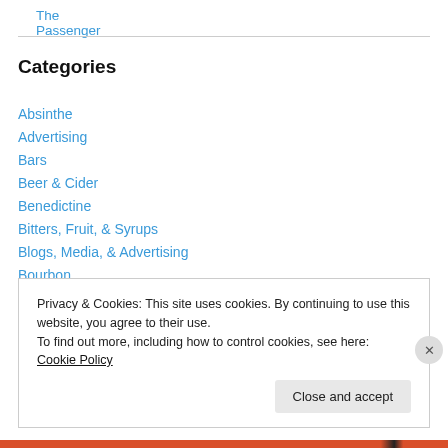The Passenger
Categories
Absinthe
Advertising
Bars
Beer & Cider
Benedictine
Bitters, Fruit, & Syrups
Blogs, Media, & Advertising
Bourbon
Brandy
Privacy & Cookies: This site uses cookies. By continuing to use this website, you agree to their use.
To find out more, including how to control cookies, see here: Cookie Policy
Close and accept